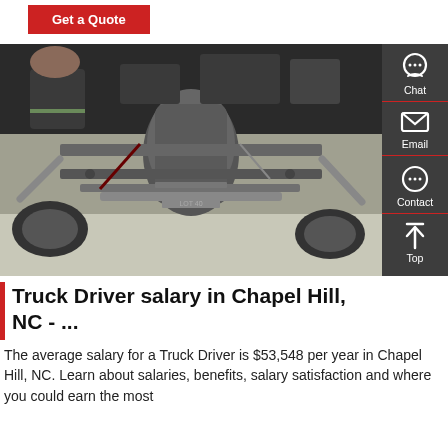Get a Quote
[Figure (photo): Underside view of a truck chassis showing axles, suspension components, fuel tank, and mechanical parts photographed from below against a pavement background.]
Truck Driver salary in Chapel Hill, NC - ...
The average salary for a Truck Driver is $53,548 per year in Chapel Hill, NC. Learn about salaries, benefits, salary satisfaction and where you could earn the most